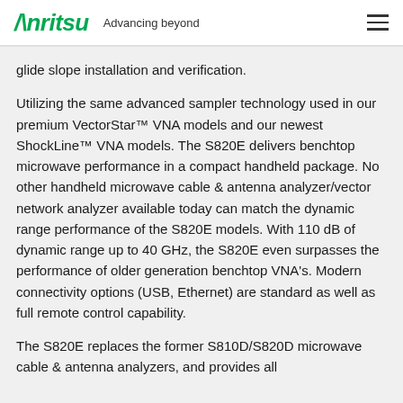Anritsu Advancing beyond
glide slope installation and verification.
Utilizing the same advanced sampler technology used in our premium VectorStar™ VNA models and our newest ShockLine™ VNA models. The S820E delivers benchtop microwave performance in a compact handheld package. No other handheld microwave cable & antenna analyzer/vector network analyzer available today can match the dynamic range performance of the S820E models. With 110 dB of dynamic range up to 40 GHz, the S820E even surpasses the performance of older generation benchtop VNA's. Modern connectivity options (USB, Ethernet) are standard as well as full remote control capability.
The S820E replaces the former S810D/S820D microwave cable & antenna analyzers, and provides all